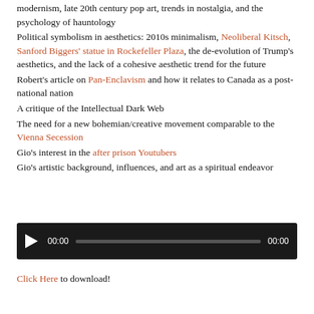modernism, late 20th century pop art, trends in nostalgia, and the psychology of hauntology
Political symbolism in aesthetics: 2010s minimalism, Neoliberal Kitsch, Sanford Biggers' statue in Rockefeller Plaza, the de-evolution of Trump's aesthetics, and the lack of a cohesive aesthetic trend for the future
Robert's article on Pan-Enclavism and how it relates to Canada as a post-national nation
A critique of the Intellectual Dark Web
The need for a new bohemian/creative movement comparable to the Vienna Secession
Gio's interest in the after prison Youtubers
Gio's artistic background, influences, and art as a spiritual endeavor
[Figure (other): Audio player widget with play button, 00:00 start time, progress bar, and 00:00 end time on dark background]
Click Here to download!